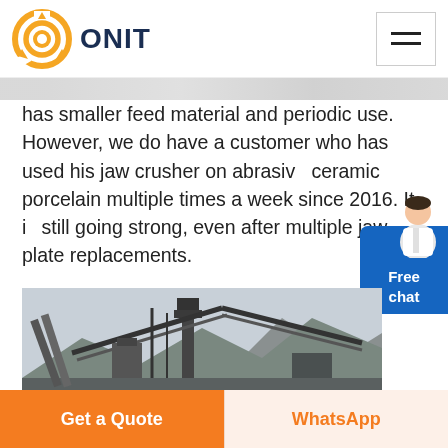[Figure (logo): ONIT company logo with orange circular icon and dark blue bold text 'ONIT']
has smaller feed material and periodic use. However, we do have a customer who has used his jaw crusher on abrasive ceramic porcelain multiple times a week since 2016. It is still going strong, even after multiple jaw plate replacements.
[Figure (photo): Industrial mining or quarrying facility with conveyor belts, heavy machinery structures, and rocky hillside in the background under overcast sky]
Get a Quote
WhatsApp